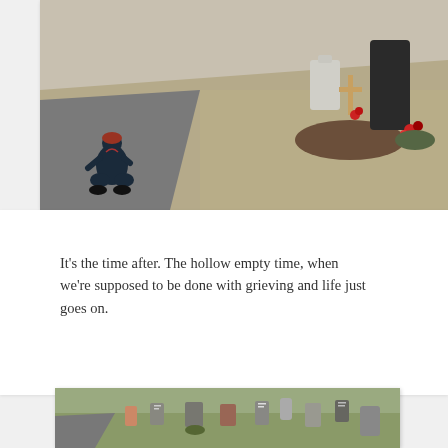[Figure (photo): Person kneeling at a grave in a cemetery, seen from behind, wearing a red hat and dark jacket. Gravestones and a wooden cross with a red flower visible nearby on dry grass.]
It's the time after. The hollow empty time, when we're supposed to be done with grieving and life just goes on.
[Figure (photo): Cemetery scene with multiple gravestones on a grassy lawn, viewed from a low angle along a path.]